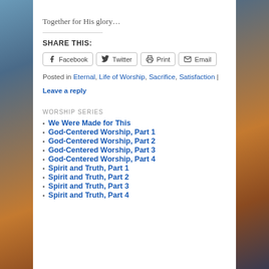Together for His glory…
SHARE THIS:
Facebook  Twitter  Print  Email
Posted in Eternal, Life of Worship, Sacrifice, Satisfaction | Leave a reply
WORSHIP SERIES
We Were Made for This
God-Centered Worship, Part 1
God-Centered Worship, Part 2
God-Centered Worship, Part 3
God-Centered Worship, Part 4
Spirit and Truth, Part 1
Spirit and Truth, Part 2
Spirit and Truth, Part 3
Spirit and Truth, Part 4